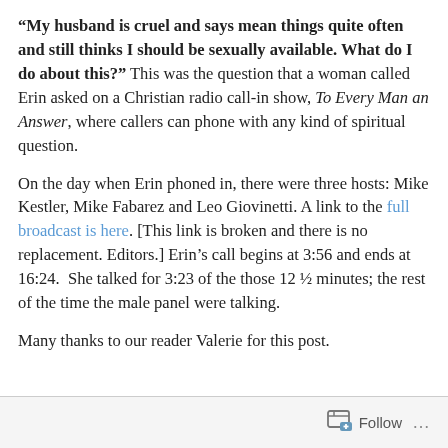“My husband is cruel and says mean things quite often and still thinks I should be sexually available. What do I do about this?”  This was the question that a woman called Erin asked on a Christian radio call-in show, To Every Man an Answer, where callers can phone with any kind of spiritual question.
On the day when Erin phoned in, there were three hosts: Mike Kestler, Mike Fabarez and Leo Giovinetti. A link to the full broadcast is here. [This link is broken and there is no replacement. Editors.] Erin’s call begins at 3:56 and ends at 16:24.  She talked for 3:23 of the those 12 ½ minutes; the rest of the time the male panel were talking.
Many thanks to our reader Valerie for this post.
Follow ...